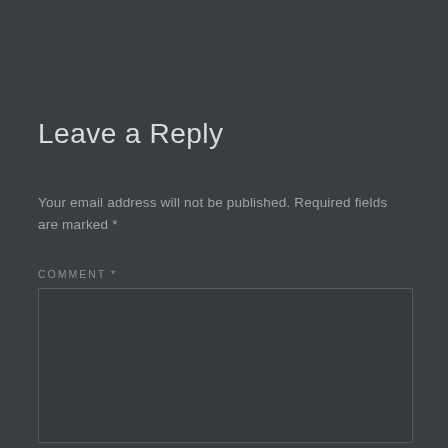Leave a Reply
Your email address will not be published. Required fields are marked *
COMMENT *
[Figure (other): Empty comment text area input field with dark background and border]